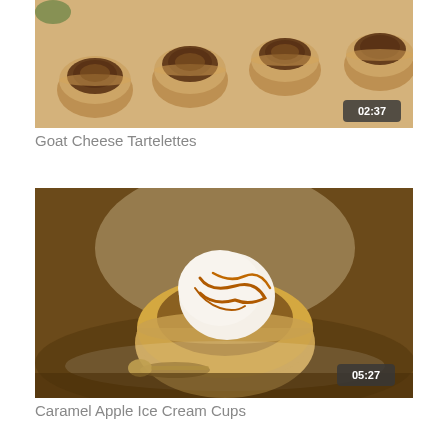[Figure (photo): Photo of mini goat cheese tartelettes (small pastry cups filled with goat cheese and toppings) on a tray, with a video duration badge showing 02:37]
Goat Cheese Tartelettes
[Figure (photo): Photo of a caramel apple ice cream cup — a pastry cup with a scoop of vanilla ice cream drizzled with caramel sauce, on a dark plate with a spoon, video duration badge showing 05:27]
Caramel Apple Ice Cream Cups